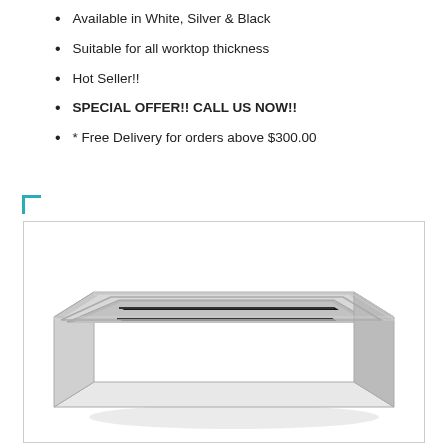Available in White, Silver & Black
Suitable for all worktop thickness
Hot Seller!!
SPECIAL OFFER!! CALL US NOW!!
* Free Delivery for orders above $300.00
[Figure (photo): Silver rectangular cable management grommet with two black brush strips, shown in perspective view on a white background.]